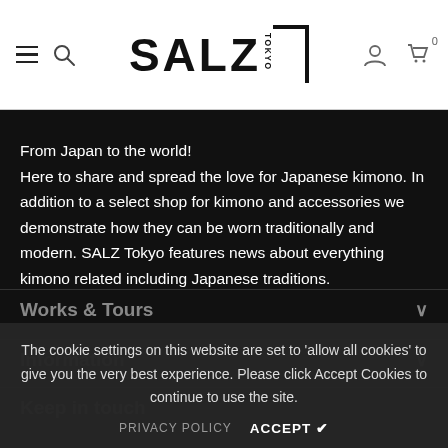SALZ TOKYO — navigation header with hamburger, search, logo, user and cart icons
From Japan to the world!
Here to share and spread the love for Japanese kimono. In addition to a select shop for kimono and accessories we demonstrate how they can be worn traditionally and modern. SALZ Tokyo features news about everything kimono related including Japanese traditions.
Works & Tours
Information
Keep in touch
The cookie settings on this website are set to 'allow all cookies' to give you the very best experience. Please click Accept Cookies to continue to use the site.
PRIVACY POLICY    ACCEPT ✔